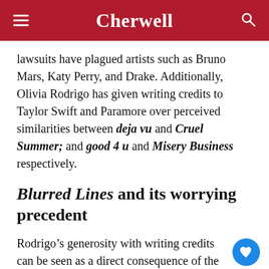Cherwell
lawsuits have plagued artists such as Bruno Mars, Katy Perry, and Drake. Additionally, Olivia Rodrigo has given writing credits to Taylor Swift and Paramore over perceived similarities between deja vu and Cruel Summer; and good 4 u and Misery Business respectively.
Blurred Lines and its worrying precedent
Rodrigo’s generosity with writing credits can be seen as a direct consequence of the Blurred Lines decision, in which Marvin Gaye’s estate sued Robin